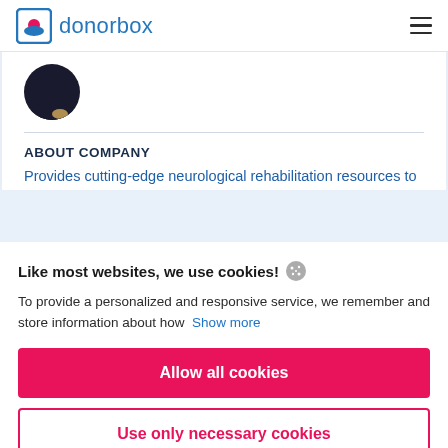donorbox
[Figure (illustration): Partial profile image circle showing dark silhouette with smile]
ABOUT COMPANY
Provides cutting-edge neurological rehabilitation resources to Austin, Texas.
Like most websites, we use cookies!
To provide a personalized and responsive service, we remember and store information about how Show more
Allow all cookies
Use only necessary cookies
More options